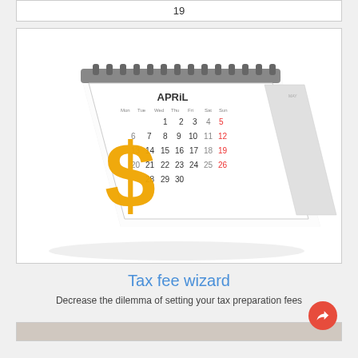19
[Figure (illustration): A desktop calendar showing April with dates 1-30 visible, with a large golden dollar sign ($) in front of it, on a white background.]
Tax fee wizard
Decrease the dilemma of setting your tax preparation fees
[Figure (photo): Bottom strip of the next card partially visible]